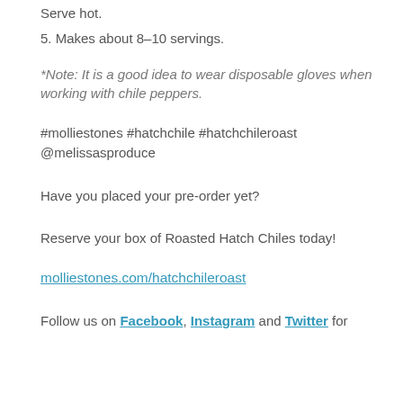Serve hot.
5. Makes about 8-10 servings.
*Note: It is a good idea to wear disposable gloves when working with chile peppers.
#molliestones #hatchchile #hatchchileroast @melissasproduce
Have you placed your pre-order yet?
Reserve your box of Roasted Hatch Chiles today!
molliestones.com/hatchchileroast
Follow us on Facebook, Instagram and Twitter for